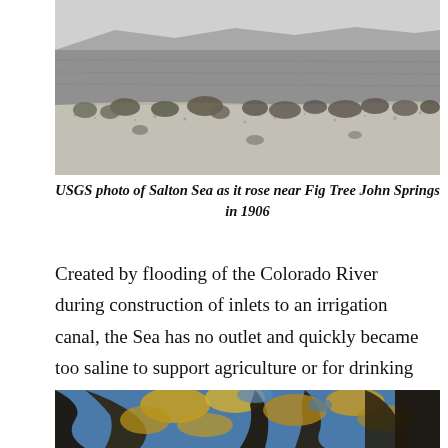[Figure (photo): Black and white USGS photograph of the Salton Sea shoreline near Fig Tree John Springs in 1906, showing a flat gravelly desert foreground with sparse desert scrub bushes, a large body of water in the midground, and distant mountain ridges in the background under a pale sky.]
USGS photo of Salton Sea as it rose near Fig Tree John Springs in 1906
Created by flooding of the Colorado River during construction of inlets to an irrigation canal, the Sea has no outlet and quickly became too saline to support agriculture or for drinking water.
[Figure (photo): Color photograph looking up through the canopy of a large tree with golden/yellow-green leaves and dark twisted branches against a bright blue sky, with a rough rocky or bark surface visible on the right side.]